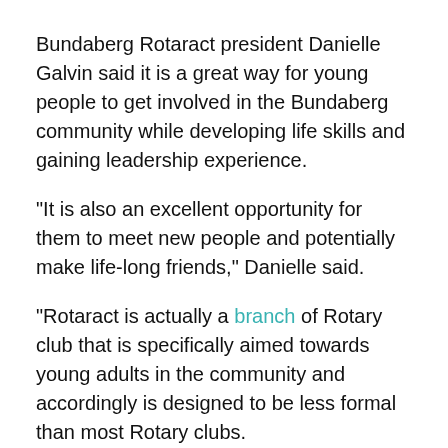Bundaberg Rotaract president Danielle Galvin said it is a great way for young people to get involved in the Bundaberg community while developing life skills and gaining leadership experience.
"It is also an excellent opportunity for them to meet new people and potentially make life-long friends," Danielle said.
"Rotaract is actually a branch of Rotary club that is specifically aimed towards young adults in the community and accordingly is designed to be less formal than most Rotary clubs.
"We do maintain a good relationship with the local Rotary clubs though and in fact the club, when originally founded, it received assistance from the Sunrise Rotary club with chartering it."